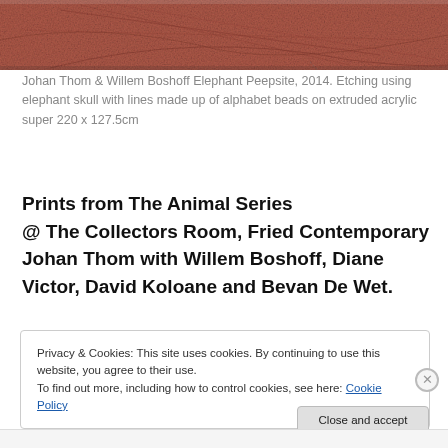[Figure (photo): Close-up photo of reddish-brown textured surface resembling an elephant skull with etched lines]
Johan Thom & Willem Boshoff Elephant Peepsite, 2014. Etching using elephant skull with lines made up of alphabet beads on extruded acrylic super 220 x 127.5cm
Prints from The Animal Series
@ The Collectors Room, Fried Contemporary
Johan Thom with Willem Boshoff, Diane Victor, David Koloane and Bevan De Wet.
Privacy & Cookies: This site uses cookies. By continuing to use this website, you agree to their use.
To find out more, including how to control cookies, see here: Cookie Policy